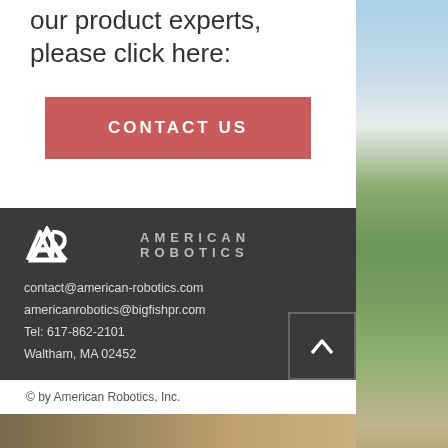our product experts, please click here:
CONTACT US
[Figure (logo): American Robotics logo with AR symbol and company name in uppercase spaced letters]
contact@american-robotics.com
americanrobotics@bigfishpr.com
Tel: 617-862-2101
Waltham, MA 02452
[Figure (infographic): LinkedIn and Twitter social media icons in white]
© by American Robotics, Inc.